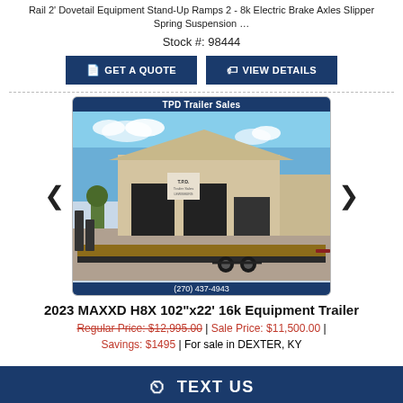Rail 2' Dovetail Equipment Stand-Up Ramps 2 - 8k Electric Brake Axles Slipper Spring Suspension …
Stock #: 98444
GET A QUOTE
VIEW DETAILS
[Figure (photo): Photo of a 2023 MAXXD H8X equipment trailer parked in front of TPD Trailer Sales building. The trailer has a flat deck with ramps, dual axles, and wood decking. The building is tan/beige metal with large doors. Phone number (270) 437-4943 shown at bottom.]
2023 MAXXD H8X 102"x22' 16k Equipment Trailer
Regular Price: $12,995.00 | Sale Price: $11,500.00 | Savings: $1495 | For sale in DEXTER, KY
TEXT US